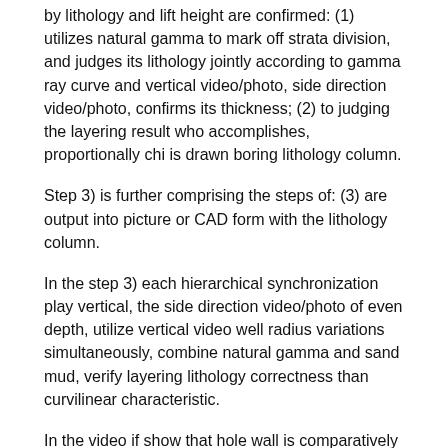by lithology and lift height are confirmed: (1) utilizes natural gamma to mark off strata division, and judges its lithology jointly according to gamma ray curve and vertical video/photo, side direction video/photo, confirms its thickness; (2) to judging the layering result who accomplishes, proportionally chi is drawn boring lithology column.
Step 3) is further comprising the steps of: (3) are output into picture or CAD form with the lithology column.
In the step 3) each hierarchical synchronization play vertical, the side direction video/photo of even depth, utilize vertical video well radius variations simultaneously, combine natural gamma and sand mud, verify layering lithology correctness than curvilinear characteristic.
In the video if show that hole wall is comparatively neat, bulky grain is outstanding seldom or seldom, the thin layer in black helical form band, rock stratum that stays when having drill bit to creep into clearly; Can be judged as the aperture this moment and enlarge, can tentatively be judged as aleuritic texture mud stone, siltstone or mud stone thus; The video appearance is significantly rough